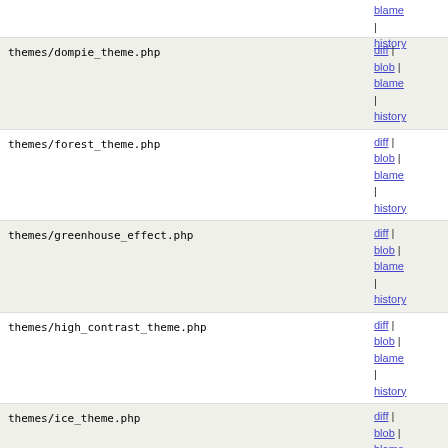blame | history (top partial row)
themes/dompie_theme.php  diff | blob | blame | history
themes/forest_theme.php  diff | blob | blame | history
themes/greenhouse_effect.php  diff | blob | blame | history
themes/high_contrast_theme.php  diff | blob | blame | history
themes/ice_theme.php  diff | blob | blame | history
themes/in_the_pink.php  diff | blob | blame | history
themes/index.php  diff | blob | blame | history